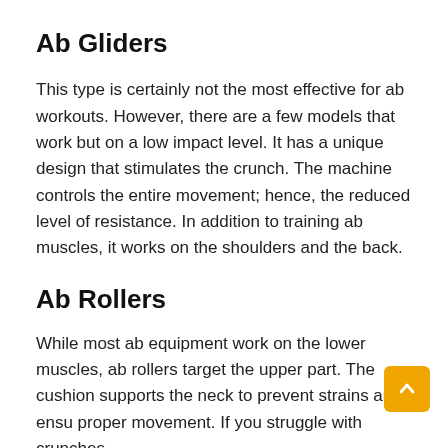Ab Gliders
This type is certainly not the most effective for ab workouts. However, there are a few models that work but on a low impact level. It has a unique design that stimulates the crunch. The machine controls the entire movement; hence, the reduced level of resistance. In addition to training ab muscles, it works on the shoulders and the back.
Ab Rollers
While most ab equipment work on the lower muscles, ab rollers target the upper part. The cushion supports the neck to prevent strains and ensure proper movement. If you struggle with crunches